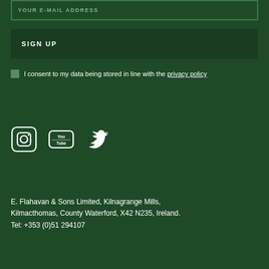YOUR E-MAIL ADDRESS
SIGN UP
I consent to my data being stored in line with the privacy policy
[Figure (illustration): Social media icons: Instagram, YouTube, Twitter]
E. Flahavan & Sons Limited, Kilnagrange Mills, Kilmacthomas, County Waterford, X42 N235, Ireland. Tel: +353 (0)51 294107